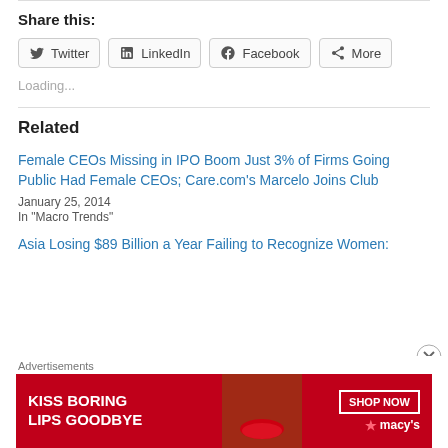Share this:
Twitter
LinkedIn
Facebook
More
Loading...
Related
Female CEOs Missing in IPO Boom Just 3% of Firms Going Public Had Female CEOs; Care.com's Marcelo Joins Club
January 25, 2014
In "Macro Trends"
Asia Losing $89 Billion a Year Failing to Recognize Women:
Advertisements
[Figure (photo): Macy's advertisement banner: KISS BORING LIPS GOODBYE, SHOP NOW, Macy's star logo, woman's face with red lips]